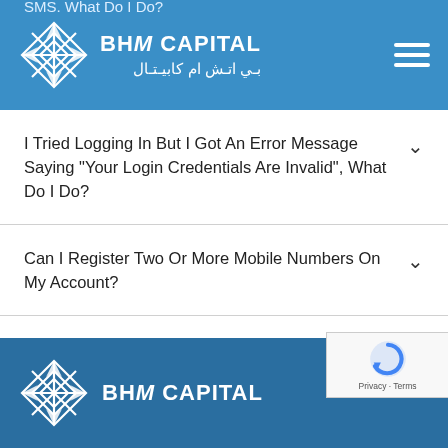BHM CAPITAL | بي اتش ام كابيتال
I Tried Logging In But I Got An Error Message Saying “Your Login Credentials Are Invalid”, What Do I Do?
Can I Register Two Or More Mobile Numbers On My Account?
BHM CAPITAL